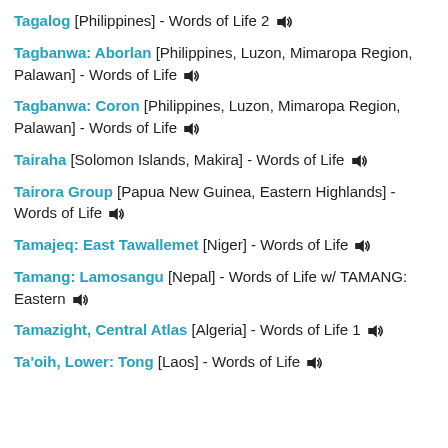Tagalog [Philippines] - Words of Life 2 🔊
Tagbanwa: Aborlan [Philippines, Luzon, Mimaropa Region, Palawan] - Words of Life 🔊
Tagbanwa: Coron [Philippines, Luzon, Mimaropa Region, Palawan] - Words of Life 🔊
Tairaha [Solomon Islands, Makira] - Words of Life 🔊
Tairora Group [Papua New Guinea, Eastern Highlands] - Words of Life 🔊
Tamajeq: East Tawallemet [Niger] - Words of Life 🔊
Tamang: Lamosangu [Nepal] - Words of Life w/ TAMANG: Eastern 🔊
Tamazight, Central Atlas [Algeria] - Words of Life 1 🔊
Ta'oih, Lower: Tong [Laos] - Words of Life 🔊